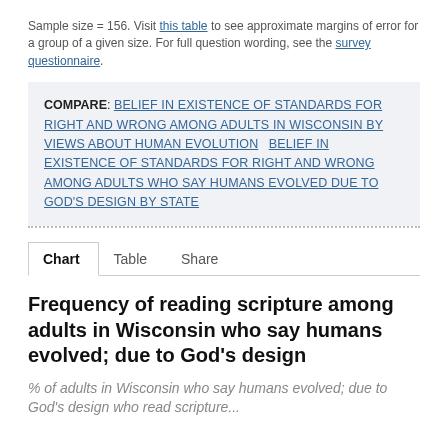Sample size = 156. Visit this table to see approximate margins of error for a group of a given size. For full question wording, see the survey questionnaire.
COMPARE: BELIEF IN EXISTENCE OF STANDARDS FOR RIGHT AND WRONG AMONG ADULTS IN WISCONSIN BY VIEWS ABOUT HUMAN EVOLUTION    BELIEF IN EXISTENCE OF STANDARDS FOR RIGHT AND WRONG AMONG ADULTS WHO SAY HUMANS EVOLVED DUE TO GOD'S DESIGN BY STATE
Chart   Table   Share
Frequency of reading scripture among adults in Wisconsin who say humans evolved; due to God's design
% of adults in Wisconsin who say humans evolved; due to God's design who read scripture...